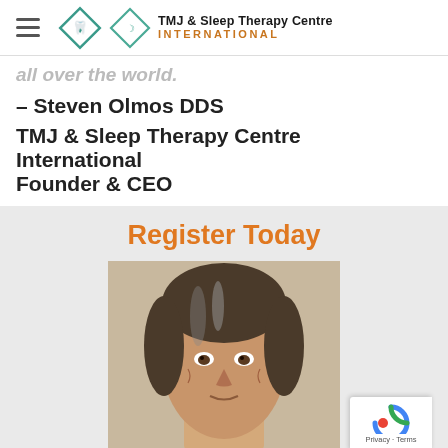TMJ & Sleep Therapy Centre INTERNATIONAL
all over the world.
– Steven Olmos DDS
TMJ & Sleep Therapy Centre International Founder & CEO
Register Today
[Figure (photo): Portrait photo of Steven Olmos DDS, a middle-aged man with gray-streaked dark hair]